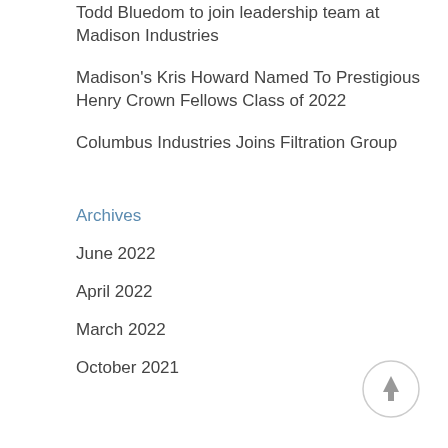Todd Bluedom to join leadership team at Madison Industries
Madison's Kris Howard Named To Prestigious Henry Crown Fellows Class of 2022
Columbus Industries Joins Filtration Group
Archives
June 2022
April 2022
March 2022
October 2021